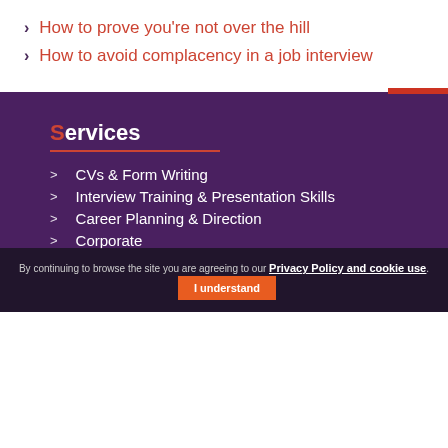How to prove you're not over the hill
How to avoid complacency in a job interview
Services
CVs & Form Writing
Interview Training & Presentation Skills
Career Planning & Direction
Corporate
By continuing to browse the site you are agreeing to our Privacy Policy and cookie use. I understand